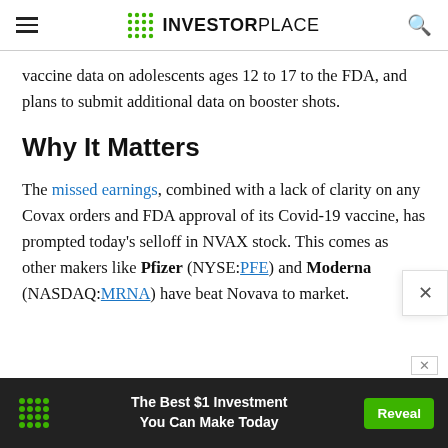INVESTORPLACE
vaccine data on adolescents ages 12 to 17 to the FDA, and plans to submit additional data on booster shots.
Why It Matters
The missed earnings, combined with a lack of clarity on any Covax orders and FDA approval of its Covid-19 vaccine, has prompted today’s selloff in NVAX stock. This comes as other makers like Pfizer (NYSE:PFE) and Moderna (NASDAQ:MRNA) have beat Novava… to market.
[Figure (infographic): Advertisement banner: InvestorPlace logo, text 'The Best $1 Investment You Can Make Today', green Reveal button]